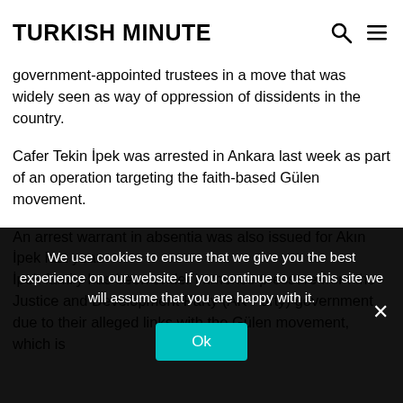TURKISH MINUTE
government-appointed trustees in a move that was widely seen as way of oppression of dissidents in the country.
Cafer Tekin İpek was arrested in Ankara last week as part of an operation targeting the faith-based Gülen movement.
An arrest warrant in absentia was also issued for Akın İpek last year.
İpek family has been under immense pressure from the Justice and Development Party (AK Party) government due to their alleged links with the Gülen movement, which is
We use cookies to ensure that we give you the best experience on our website. If you continue to use this site we will assume that you are happy with it.